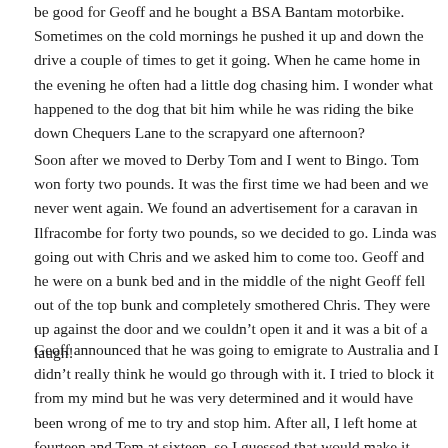be good for Geoff and he bought a BSA Bantam motorbike. Sometimes on the cold mornings he pushed it up and down the drive a couple of times to get it going. When he came home in the evening he often had a little dog chasing him. I wonder what happened to the dog that bit him while he was riding the bike down Chequers Lane to the scrapyard one afternoon?
Soon after we moved to Derby Tom and I went to Bingo. Tom won forty two pounds. It was the first time we had been and we never went again. We found an advertisement for a caravan in Ilfracombe for forty two pounds, so we decided to go. Linda was going out with Chris and we asked him to come too. Geoff and he were on a bunk bed and in the middle of the night Geoff fell out of the top bunk and completely smothered Chris. They were up against the door and we couldn’t open it and it was a bit of a laugh!
Geoff announced that he was going to emigrate to Australia and I didn’t really think he would go through with it. I tried to block it from my mind but he was very determined and it would have been wrong of me to try and stop him. After all, I left home at fourteen and Tom at sixteen, so I guessed that would make it alright. That didn’t